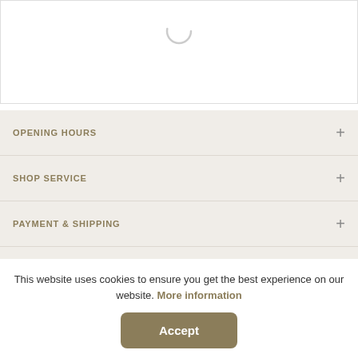[Figure (other): White box with a loading spinner circle at top center]
OPENING HOURS +
SHOP SERVICE +
PAYMENT & SHIPPING +
INFORMATION +
YOUTH PROTECTION +
NEWSLETTER +
This website uses cookies to ensure you get the best experience on our website. More information
Accept